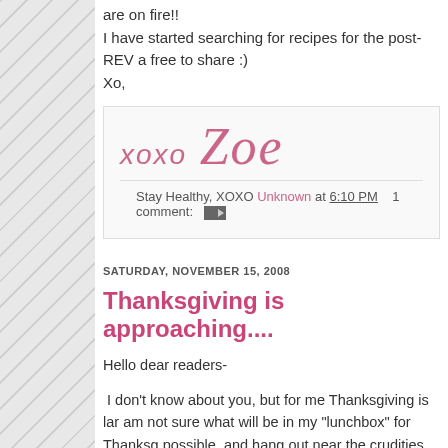are on fire!!
I have started searching for recipes for the post-REV a free to share :)
Xo,
[Figure (illustration): Signature graphic showing 'xoxo Zoe' in pink cursive/italic text on light gray background]
Stay Healthy, XOXO Unknown at 6:10 PM   1 comment:
SATURDAY, NOVEMBER 15, 2008
Thanksgiving is approaching....
Hello dear readers-
I don't know about you, but for me Thanksgiving is lar am not sure what will be in my "lunchbox" for Thanksg possible, and hang out near the crudities before we ea checking out cool sites for lowfat/no sugar added recip After t t b f th tt d b d